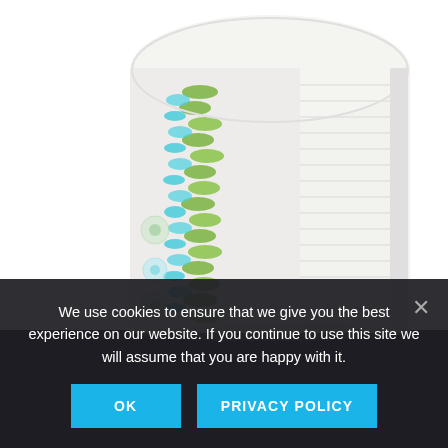[Figure (photo): A tall stack of folded baby diapers with white outer surface and green/blue decorative patterns visible on the sides, photographed against a white background.]
We use cookies to ensure that we give you the best experience on our website. If you continue to use this site we will assume that you are happy with it.
OK
PRIVACY POLICY